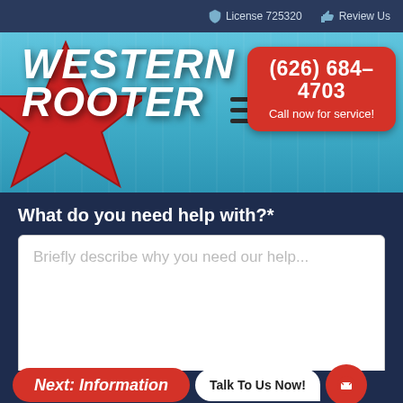License 725320  Review Us
[Figure (logo): Western Rooter logo with red star and stylized text on teal/blue header background, with hamburger menu and red phone call button showing (626) 684-4703 and Call now for service!]
What do you need help with?*
Briefly describe why you need our help...
Next: Information
Talk To Us Now!